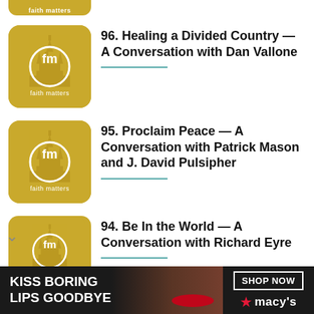[Figure (logo): Faith Matters podcast thumbnail (partially cropped at top), gold/yellow background with 'fm' logo and temple silhouette]
96. Healing a Divided Country — A Conversation with Dan Vallone
[Figure (logo): Faith Matters podcast thumbnail, gold/yellow background with 'fm' logo and temple silhouette]
95. Proclaim Peace — A Conversation with Patrick Mason and J. David Pulsipher
[Figure (logo): Faith Matters podcast thumbnail, gold/yellow background with 'fm' logo and temple silhouette]
94. Be In the World — A Conversation with Richard Eyre
[Figure (photo): Advertisement banner: 'KISS BORING LIPS GOODBYE' with woman's face and red lips, Macy's SHOP NOW button]